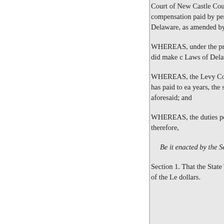Court of New Castle County the County for compensation paid by performing the duties under the p Delaware, as amended by Chapte
WHEREAS, under the provision Wilmington Hundred did make c Laws of Delaware, for their resp
WHEREAS, the Levy Court of D Laws of Delaware, has paid to ea years, the sum of one hundred de aforesaid; and
WHEREAS, the duties performe the State of Delaware; therefore,
Be it enacted by the Senate an met:
Section 1. That the State Treasu pay over to Levy Court of the Le dollars.